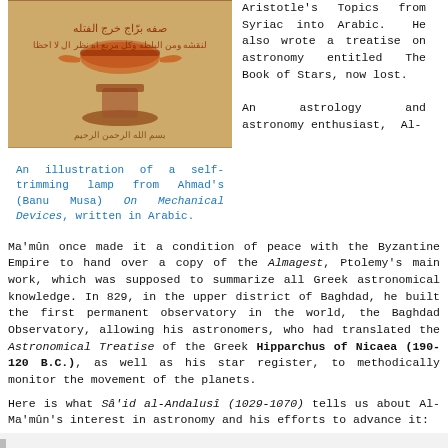[Figure (illustration): A manuscript illustration of a self-trimming lamp from Ahmad's (Banu Musa) On Mechanical Devices, written in Arabic. The illustration shows mechanical device drawings with Arabic text on a parchment-colored background.]
An illustration of a self-trimming lamp from Ahmad's (Banu Musa) On Mechanical Devices, written in Arabic.
Aristotle's Topics from Syriac into Arabic. He also wrote a treatise on astronomy entitled The Book of Stars, now lost.

An astrology and astronomy enthusiast, Al-Ma'mûn once made it a condition of peace with the Byzantine Empire to hand over a copy of the Almagest, Ptolemy's main work, which was supposed to summarize all Greek astronomical knowledge. In 829, in the upper district of Baghdad, he built the first permanent observatory in the world, the Baghdad Observatory, allowing his astronomers, who had translated the Astronomical Treatise of the Greek Hipparchus of Nicaea (190-120 B.C.), as well as his star register, to methodically monitor the movement of the planets.
Here is what Sâ'id al-Andalusî (1029-1070) tells us about Al-Ma'mûn's interest in astronomy and his efforts to advance it:
“As soon as Al-Ma’mûn became caliph, his noble soul made every